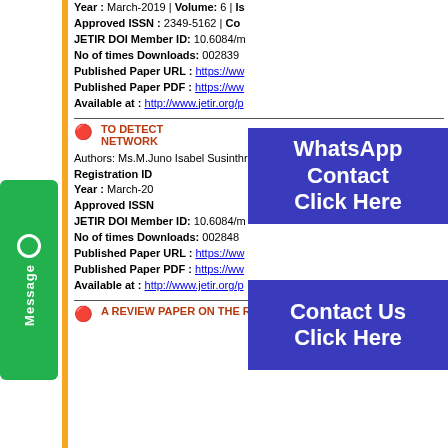Year : March-2019 | Volume: 6 | Is... Approved ISSN : 2349-5162 | Co... JETIR DOI Member ID: 10.6084/m... No of times Downloads: 002839 Published Paper URL : https://ww... Published Paper PDF : https://ww... Available at : http://www.jetir.org/p...
[Figure (other): WhatsApp Contact Click Here overlay button in blue/purple]
TO DETECT ... NETWORK
Authors: Ms.M.Juno Isabel Susinthra...
Registration ID...
Year : March-20...
Approved ISSN...
JETIR DOI Member ID: 10.6084/m...
No of times Downloads: 002848
Published Paper URL : https://ww...
Published Paper PDF : https://ww...
Available at : http://www.jetir.org/p...
[Figure (other): Contact Us Click Here overlay button in blue/purple]
A REVIEW PAPER ON THE R...